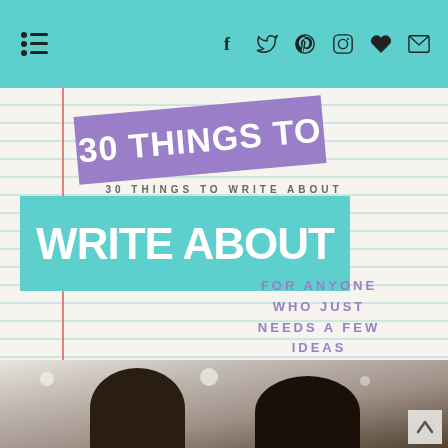Navigation menu and social icons (f, twitter, pinterest, instagram, heart, mail)
30 THINGS TO WRITE ABOUT
FOR ANYONE WHO JUST NEEDS A FEW IDEAS
[Figure (photo): Two people photographed from behind/above, heads visible, in what appears to be an indoor setting]